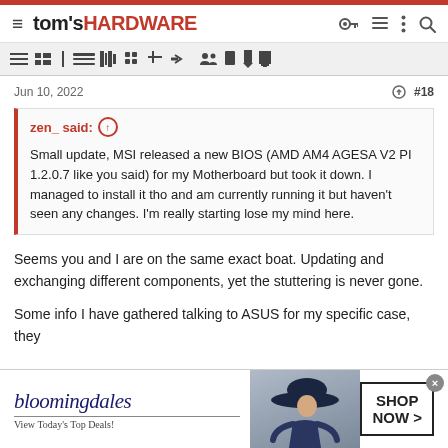tom's HARDWARE
Jun 10, 2022   #18
zen_ said: ↑

Small update, MSI released a new BIOS (AMD AM4 AGESA V2 PI 1.2.0.7 like you said) for my Motherboard but took it down. I managed to install it tho and am currently running it but haven't seen any changes. I'm really starting lose my mind here.
Seems you and I are on the same exact boat. Updating and exchanging different components, yet the stuttering is never gone.
Some info I have gathered talking to ASUS for my specific case, they
[Figure (screenshot): Bloomingdale's advertisement banner: 'View Today's Top Deals! SHOP NOW >']